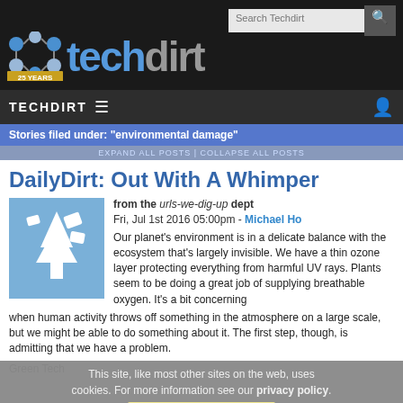Search Techdirt
[Figure (logo): Techdirt logo with blue and gray text and molecular icon, 25 Years badge]
TECHDIRT ☰
Stories filed under: "environmental damage"
EXPAND ALL POSTS | COLLAPSE ALL POSTS
DailyDirt: Out With A Whimper
from the urls-we-dig-up dept
Fri, Jul 1st 2016 05:00pm - Michael Ho
Our planet's environment is in a delicate balance with the ecosystem that's largely invisible. We have a thin ozone layer protecting everything from harmful UV rays. Plants seem to be doing a great job of supplying breathable oxygen. It's a bit concerning when human activity throws off something in the atmosphere on a large scale, but we might be able to do something about it. The first step, though, is admitting that we have a problem.
Green Tech
This site, like most other sites on the web, uses cookies. For more information see our privacy policy.
GOT IT
Snow-dwelling algae on glaciers might be a problem